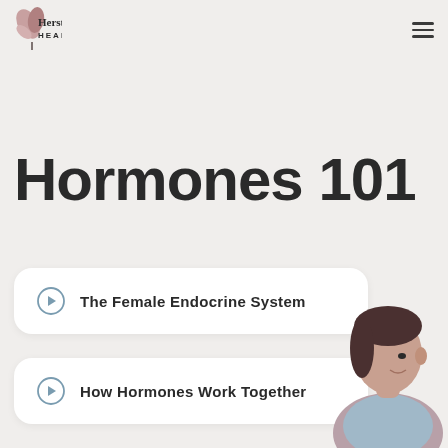Herstasis HEALTH
Hormones 101
The Female Endocrine System
How Hormones Work Together
[Figure (illustration): Illustration of a woman's head and shoulders in muted pink/mauve tones, partially visible in the bottom-right corner]